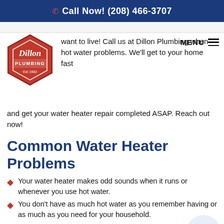Call Now! (208) 466-3707
[Figure (logo): Dillon Plumbing logo — red hexagonal badge with white text]
want to live! Call us at Dillon Plumbing when hot water problems. We'll get to your home fast and get your water heater repair completed ASAP. Reach out now!
Common Water Heater Problems
Your water heater makes odd sounds when it runs or whenever you use hot water.
You don't have as much hot water as you remember having or as much as you need for your household.
Your hot water isn't as warm as it used to be.
Your water heater leaks or you see dried water marks on